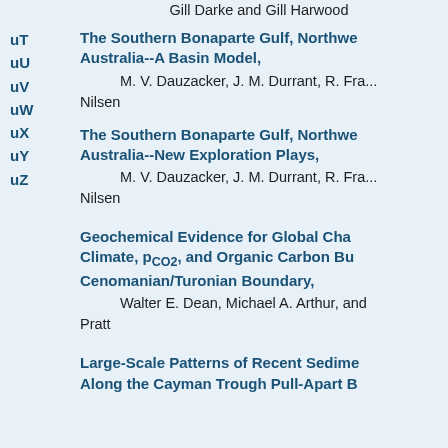Gill Darke and Gill Harwood
uT
uU
uV
uW
uX
uY
uZ
The Southern Bonaparte Gulf, Northwest Australia--A Basin Model,
M. V. Dauzacker, J. M. Durrant, R. Fra... Nilsen
The Southern Bonaparte Gulf, Northwest Australia--New Exploration Plays,
M. V. Dauzacker, J. M. Durrant, R. Fra... Nilsen
Geochemical Evidence for Global Cha... Climate, pCO2, and Organic Carbon Bu... Cenomanian/Turonian Boundary,
Walter E. Dean, Michael A. Arthur, and Pratt
Large-Scale Patterns of Recent Sedime... Along the Cayman Trough Pull-Apart B...